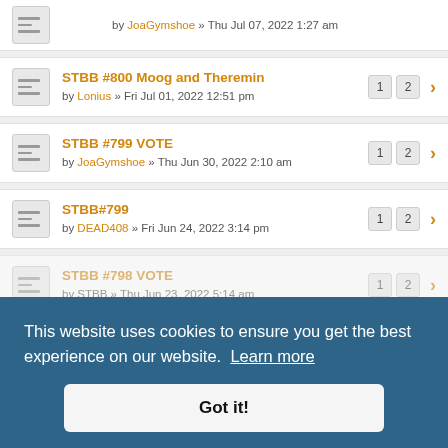by JoaGymshoe » Thu Jul 07, 2022 1:27 am
STBB #800 Moog and Theremin by Lonius » Fri Jul 01, 2022 12:51 pm — pages 1 2
STBB #799 VOTE by JoaGymshoe » Thu Jun 30, 2022 2:10 am — pages 1 2
STBB#799 by DEAD408 » Fri Jun 24, 2022 3:14 pm — pages 1 2
STBB #798 VOTE by STBB » Thu Jun 23, 2022 5:14 am — pages 1 2
STBB #798 Surgical Cuts by JoaGymshoe » Sat Jun 18, 2022 12:35 am — pages 1 2
STBB #797 VOTE
This website uses cookies to ensure you get the best experience on our website. Learn more
Got it!